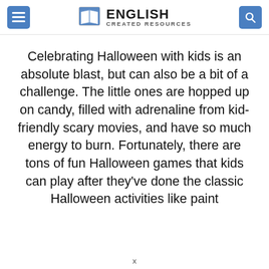ENGLISH CREATED RESOURCES
Celebrating Halloween with kids is an absolute blast, but can also be a bit of a challenge. The little ones are hopped up on candy, filled with adrenaline from kid-friendly scary movies, and have so much energy to burn. Fortunately, there are tons of fun Halloween games that kids can play after they've done the classic Halloween activities like paint